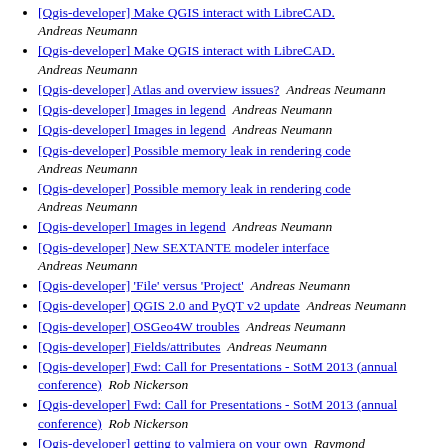[Qgis-developer] Make QGIS interact with LibreCAD.  Andreas Neumann
[Qgis-developer] Make QGIS interact with LibreCAD.  Andreas Neumann
[Qgis-developer] Atlas and overview issues?  Andreas Neumann
[Qgis-developer] Images in legend  Andreas Neumann
[Qgis-developer] Images in legend  Andreas Neumann
[Qgis-developer] Possible memory leak in rendering code  Andreas Neumann
[Qgis-developer] Possible memory leak in rendering code  Andreas Neumann
[Qgis-developer] Images in legend  Andreas Neumann
[Qgis-developer] New SEXTANTE modeler interface  Andreas Neumann
[Qgis-developer] 'File' versus 'Project'  Andreas Neumann
[Qgis-developer] QGIS 2.0 and PyQT v2 update  Andreas Neumann
[Qgis-developer] OSGeo4W troubles  Andreas Neumann
[Qgis-developer] Fields/attributes  Andreas Neumann
[Qgis-developer] Fwd: Call for Presentations - SotM 2013 (annual conference)  Rob Nickerson
[Qgis-developer] Fwd: Call for Presentations - SotM 2013 (annual conference)  Rob Nickerson
[Qgis-developer] getting to valmiera on your own  Raymond Wi...